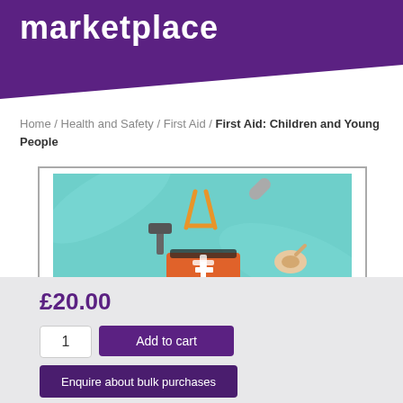marketplace
Home / Health and Safety / First Aid / First Aid: Children and Young People
[Figure (illustration): First aid themed illustration on teal/turquoise background showing a first aid kit, bandage roll, tweezers, hammer, and other first aid items floating]
£20.00
1
Add to cart
Enquire about bulk purchases